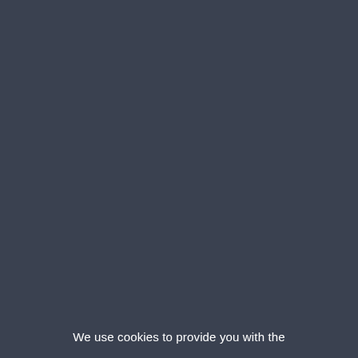We use cookies to provide you with the